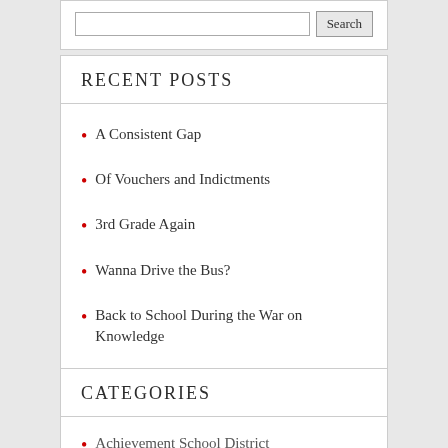RECENT POSTS
A Consistent Gap
Of Vouchers and Indictments
3rd Grade Again
Wanna Drive the Bus?
Back to School During the War on Knowledge
CATEGORIES
Achievement School District